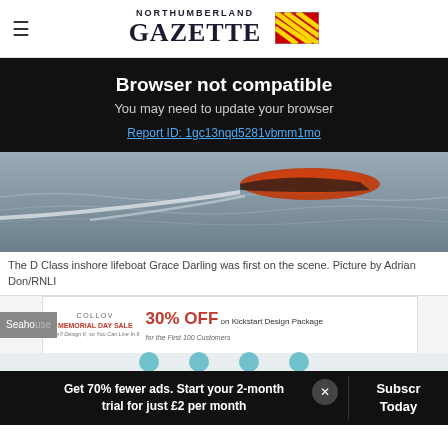NORTHUMBERLAND GAZETTE
Browser not compatible
You may need to update your browser
Report ID: 1gc13nqd5281vbmm1mo
[Figure (photo): A fast-moving orange and black D Class inshore lifeboat speeding across grey water, leaving a white wake.]
The D Class inshore lifeboat Grace Darling was first on the scene. Picture by Adrian Don/RNLI
[Figure (infographic): Collov Memorial Day Sale advertisement: 30% OFF on Kickstart Design Package for the First 100 Customers]
Get 70% fewer ads. Start your 2-month trial for just £2 per month
Subscribe Today